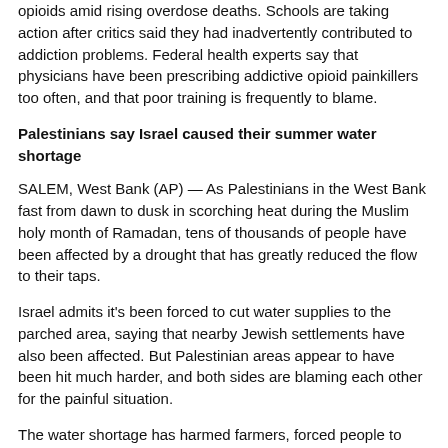opioids amid rising overdose deaths. Schools are taking action after critics said they had inadvertently contributed to addiction problems. Federal health experts say that physicians have been prescribing addictive opioid painkillers too often, and that poor training is frequently to blame.
Palestinians say Israel caused their summer water shortage
SALEM, West Bank (AP) — As Palestinians in the West Bank fast from dawn to dusk in scorching heat during the Muslim holy month of Ramadan, tens of thousands of people have been affected by a drought that has greatly reduced the flow to their taps.
Israel admits it's been forced to cut water supplies to the parched area, saying that nearby Jewish settlements have also been affected. But Palestinian areas appear to have been hit much harder, and both sides are blaming each other for the painful situation.
The water shortage has harmed farmers, forced people to bathe less and created a booming business for tanker trucks that travel from house to house delivering water.
Israel blames it on the unusually early summer heat and the Palestinians' refusal to cooperate with Israel on renovating their leaky pipe system. Palestinians say the shortage is evidence of the uneven distribution of the water that runs beneath their feet in an underground aquifer — a distribution that was enshrined in an outdated peace agreement.
Ironically, the shortages come as Israel has made great strides